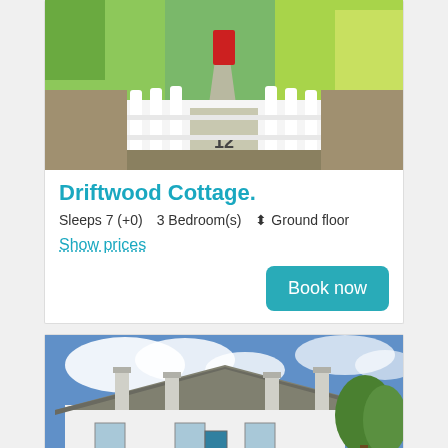[Figure (photo): Photo of Driftwood Cottage showing white picket fence gate with the number 12, green foliage on both sides, and a red door visible in the background at the end of a path.]
Driftwood Cottage.
Sleeps 7 (+0)   3 Bedroom(s)   ⬡ Ground floor
Show prices
Book now
[Figure (photo): Photo of a white thatched-roof cottage with multiple chimneys under a blue sky with clouds and trees visible to the right.]